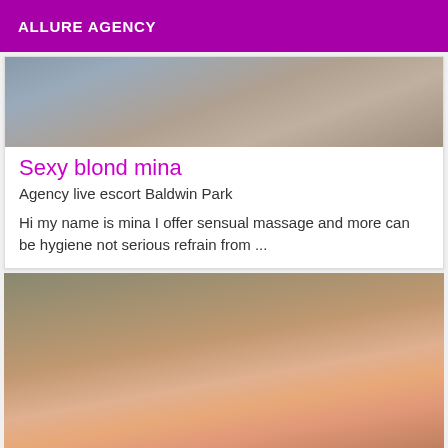ALLURE AGENCY
[Figure (photo): Partial photo of two people, cropped at top of card]
Sexy blond mina
Agency live escort Baldwin Park
Hi my name is mina I offer sensual massage and more can be hygiene not serious refrain from ...
[Figure (photo): Photo of a person from behind wearing pink underwear]